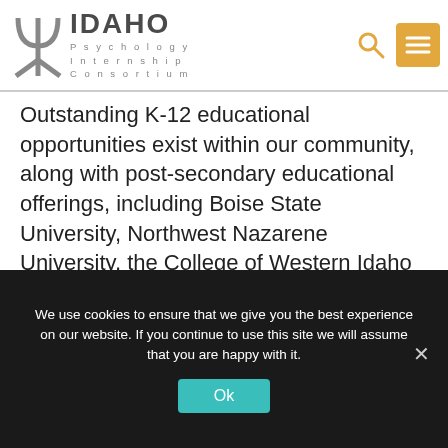[Figure (logo): Idaho Psychology Internship Consortium logo with psi symbol and text]
Outstanding K-12 educational opportunities exist within our community, along with post-secondary educational offerings, including Boise State University, Northwest Nazarene University, the College of Western Idaho and Idaho College of Osteopathic Medicine to provide new and growing companies access to training opportunities, not to mention a large pool of highly trained employees in the Treasure Valley.
We use cookies to ensure that we give you the best experience on our website. If you continue to use this site we will assume that you are happy with it.